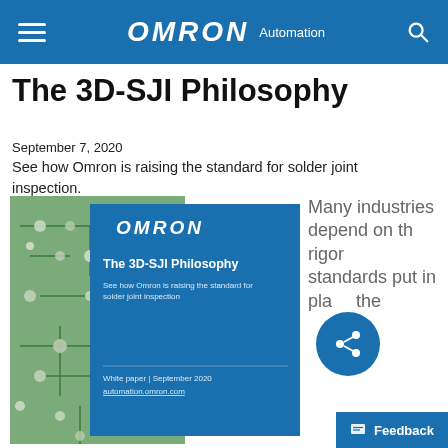OMRON Automation
The 3D-SJI Philosophy
September 7, 2020
See how Omron is raising the standard for solder joint inspection.
[Figure (photo): Whitepaper thumbnail showing a PCB board background on the left and a blue OMRON branded card on the right reading 'The 3D-SJI Philosophy – See how Omron is raising the standard for solder joint inspection. White paper | September 2020. automation.omron.com']
Many industries depend on the rigorous standards put in place the